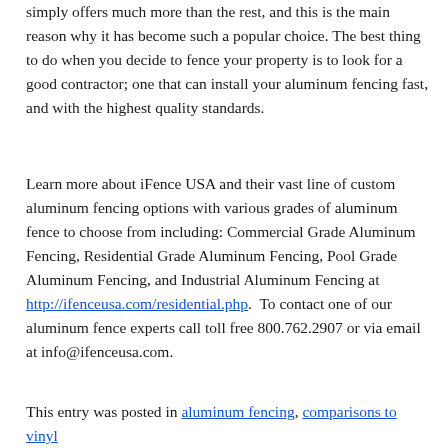simply offers much more than the rest, and this is the main reason why it has become such a popular choice. The best thing to do when you decide to fence your property is to look for a good contractor; one that can install your aluminum fencing fast, and with the highest quality standards.
Learn more about iFence USA and their vast line of custom aluminum fencing options with various grades of aluminum fence to choose from including: Commercial Grade Aluminum Fencing, Residential Grade Aluminum Fencing, Pool Grade Aluminum Fencing, and Industrial Aluminum Fencing at http://ifenceusa.com/residential.php. To contact one of our aluminum fence experts call toll free 800.762.2907 or via email at info@ifenceusa.com.
This entry was posted in aluminum fencing, comparisons to vinyl fencing,